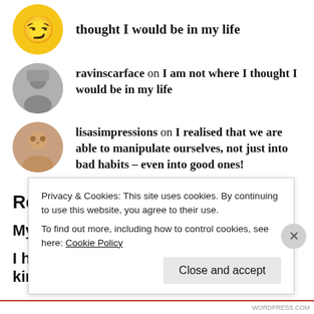thought I would be in my life
ravinscarface on I am not where I thought I would be in my life
lisasimpressions on I realised that we are able to manipulate ourselves, not just into bad habits – even into good ones!
Recent Posts
My mind is a mess on many levels
I had a pretty good idea about what kind of life I
Privacy & Cookies: This site uses cookies. By continuing to use this website, you agree to their use.
To find out more, including how to control cookies, see here: Cookie Policy
Close and accept